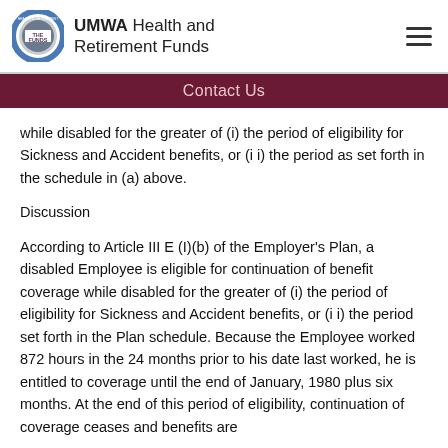UMWA Health and Retirement Funds
Contact Us
while disabled for the greater of (i) the period of eligibility for Sickness and Accident benefits, or (i i) the period as set forth in the schedule in (a) above.
Discussion
According to Article III E (I)(b) of the Employer's Plan, a disabled Employee is eligible for continuation of benefit coverage while disabled for the greater of (i) the period of eligibility for Sickness and Accident benefits, or (i i) the period set forth in the Plan schedule. Because the Employee worked 872 hours in the 24 months prior to his date last worked, he is entitled to coverage until the end of January, 1980 plus six months. At the end of this period of eligibility, continuation of coverage ceases and benefits are